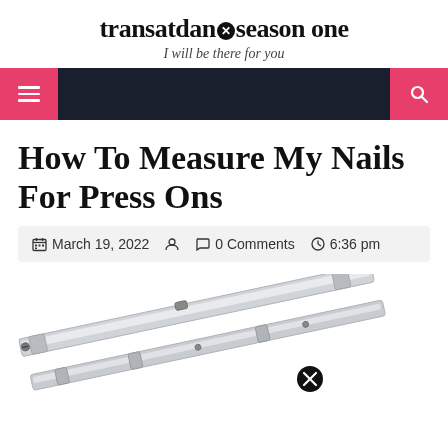transatdans✕season one — I will be there for you
[Figure (screenshot): Dark navy navigation bar with pink hamburger menu button on left and pink search button on right]
How To Measure My Nails For Press Ons
March 19, 2022  0 Comments  6:36 pm
[Figure (photo): Photo of two silver metal drawer slide rails on white background with a black close circle icon overlay]